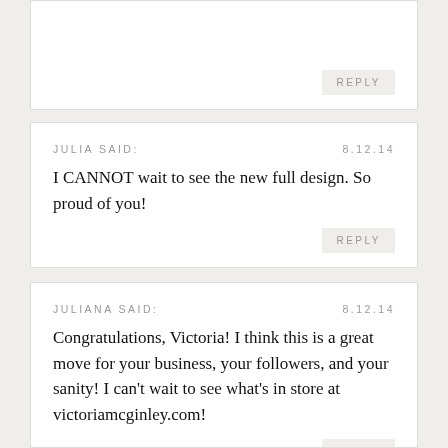REPLY
JULIA SAID:
8.12.14
I CANNOT wait to see the new full design. So proud of you!
REPLY
JULIANA SAID:
8.12.14
Congratulations, Victoria! I think this is a great move for your business, your followers, and your sanity! I can’t wait to see what’s in store at victoriamcginley.com!
REPLY